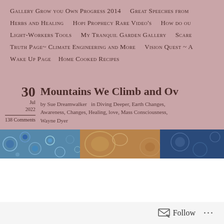Gallery Grow you Own Progress 2014   Great Speeches from
Herbs and Healing   Hopi Prophecy Rare Video's   How do ou
Light-Workers Tools   My Tranquil Garden Gallery   Scare
Truth Page~ Climate Engineering and More   Vision Quest ~ A
Wake Up Page   Home Cooked Recipes
30 JUL 2022 — 138 Comments
Mountains We Climb and Ov
by Sue Dreamwalker   in Diving Deeper, Earth Changes, Awareness, Changes, Healing, love, Mass Consciousness, Wayne Dyer
[Figure (photo): Decorative image strip showing blue cellular/microscopic patterns and brown/gold textured patterns]
Follow